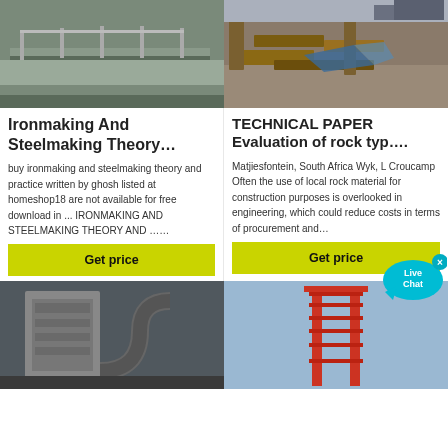[Figure (photo): Industrial conveyor or walkway with metal railings outdoors]
[Figure (photo): Construction site with wooden beams and gravel]
Ironmaking And Steelmaking Theory…
TECHNICAL PAPER Evaluation of rock typ….
buy ironmaking and steelmaking theory and practice written by ghosh listed at homeshop18 are not available for free download in ... IRONMAKING AND STEELMAKING THEORY AND ……
Matjiesfontein, South Africa Wyk, L Croucamp Often the use of local rock material for construction purposes is overlooked in engineering, which could reduce costs in terms of procurement and…
Get price
Get price
[Figure (photo): Industrial facility interior with large metal ductwork and equipment]
[Figure (photo): Tall red and white industrial tower structure against blue sky]